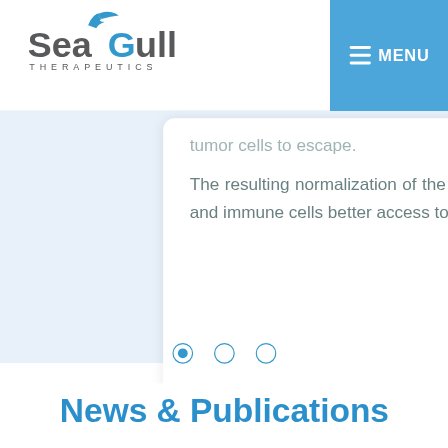SeaGull THERAPEUTICS
[Figure (logo): SeaGull Therapeutics logo with blue seagull bird icon above letter G]
tumor cells to escape.
The resulting normalization of the vasculature also allows therapeutic molecules and immune cells better access to the tumor.
charac inflam antige prope efficie
[Figure (other): Carousel navigation dots: one filled (active) and two empty circles]
News & Publications